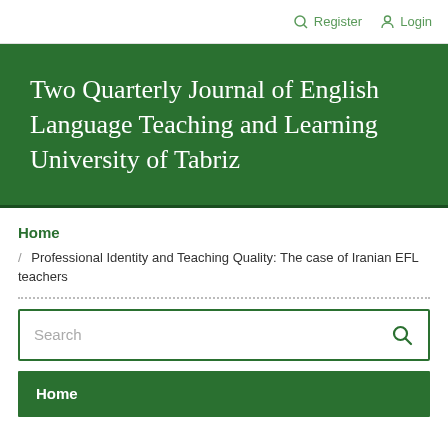Register   Login
Two Quarterly Journal of English Language Teaching and Learning University of Tabriz
Home
/ Professional Identity and Teaching Quality: The case of Iranian EFL teachers
Search
Home